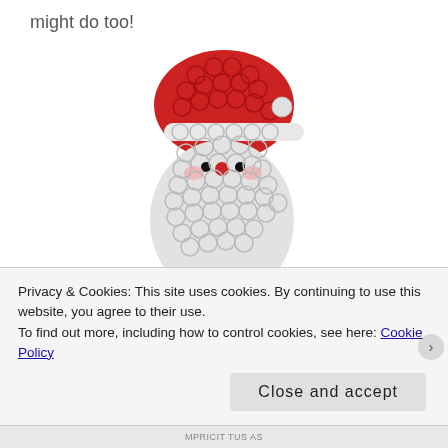might do too!
[Figure (photo): A Santa Claus pop-it fidget toy shaped like Santa's face, with a red hat made of bubble-pop circles, white beard and face area with bubble circles, pink cheeks, black dot eyes, and a red nose.]
Neon Bubble Wands– You can't beat bubbles
Privacy & Cookies: This site uses cookies. By continuing to use this website, you agree to their use.
To find out more, including how to control cookies, see here: Cookie Policy
Close and accept